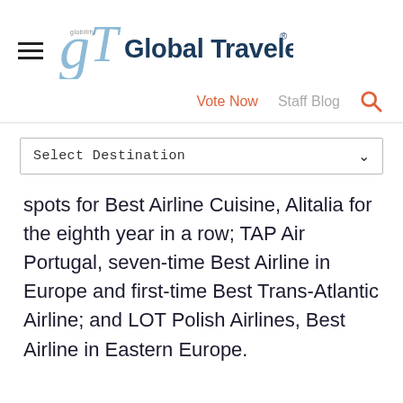Global Traveler
Vote Now   Staff Blog
Select Destination
spots for Best Airline Cuisine, Alitalia for the eighth year in a row; TAP Air Portugal, seven-time Best Airline in Europe and first-time Best Trans-Atlantic Airline; and LOT Polish Airlines, Best Airline in Eastern Europe.